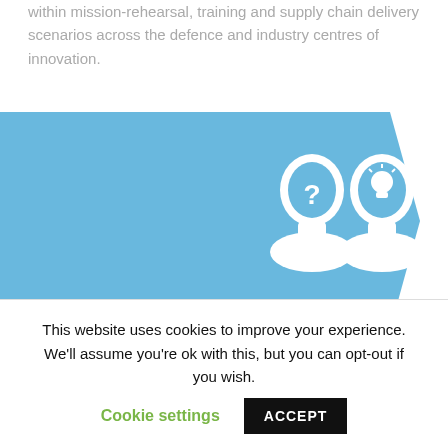within mission-rehearsal, training and supply chain delivery scenarios across the defence and industry centres of innovation.
[Figure (infographic): Blue chevron/arrow banner with two white head silhouette icons — one with a question mark inside, another with a lightbulb icon inside.]
The Approach
This website uses cookies to improve your experience. We'll assume you're ok with this, but you can opt-out if you wish. Cookie settings ACCEPT